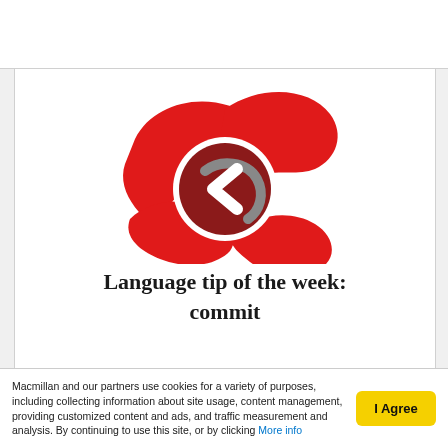[Figure (logo): Macmillan Dictionary logo: red stylized flag/wave shape with a dark red circle containing a white left-pointing chevron arrow in the center]
Language tip of the week: commit
[Figure (logo): Partial Macmillan logo visible at bottom of page]
Macmillan and our partners use cookies for a variety of purposes, including collecting information about site usage, content management, providing customized content and ads, and traffic measurement and analysis. By continuing to use this site, or by clicking More info